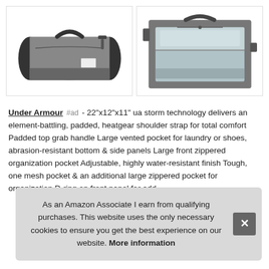[Figure (photo): Two product images of an Under Armour duffel bag. Left image shows a gray and black duffel bag from the side. Right image shows the bag open from above, revealing the interior compartments.]
Under Armour #ad - 22"x12"x11" ua storm technology delivers an element-battling, padded, heatgear shoulder strap for total comfort Padded top grab handle Large vented pocket for laundry or shoes, abrasion-resistant bottom & side panels Large front zippered organization pocket Adjustable, highly water-resistant finish Tough, one mesh pocket & an additional large zippered pocket for organization D-ring on front panel for add
As an Amazon Associate I earn from qualifying purchases. This website uses the only necessary cookies to ensure you get the best experience on our website. More information